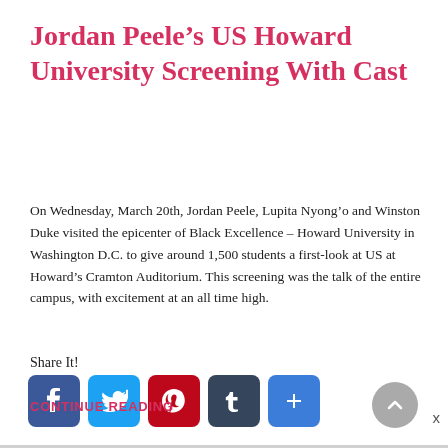Jordan Peele’s US Howard University Screening With Cast
On Wednesday, March 20th, Jordan Peele, Lupita Nyong’o and Winston Duke visited the epicenter of Black Excellence – Howard University in Washington D.C. to give around 1,500 students a first-look at US at Howard’s Cramton Auditorium. This screening was the talk of the entire campus, with excitement at an all time high.
Share It!
[Figure (infographic): Social media share buttons: Facebook (blue), Twitter (light blue), Pinterest (red), Tumblr (dark blue-gray), Share/plus (blue)]
CONTINUE READING